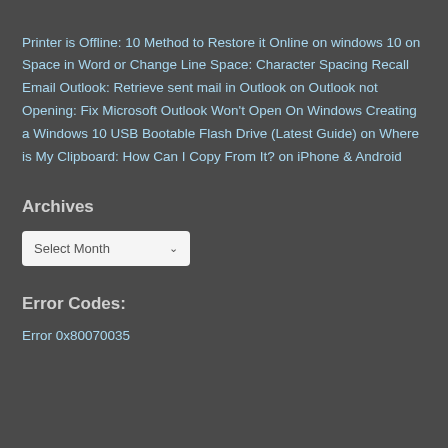Printer is Offline: 10 Method to Restore it Online on windows 10 on Space in Word or Change Line Space: Character Spacing Recall Email Outlook: Retrieve sent mail in Outlook on Outlook not Opening: Fix Microsoft Outlook Won't Open On Windows Creating a Windows 10 USB Bootable Flash Drive (Latest Guide) on Where is My Clipboard: How Can I Copy From It? on iPhone & Android
Archives
Select Month
Error Codes:
Error 0x80070035